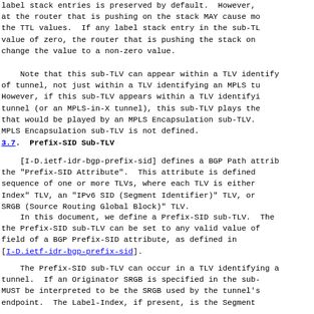label stack entries is preserved by default.  However, at the router that is pushing on the stack MAY cause mo the TTL values.  If any label stack entry in the sub-TL value of zero, the router that is pushing the stack on change the value to a non-zero value.
Note that this sub-TLV can appear within a TLV identify of tunnel, not just within a TLV identifying an MPLS tu However, if this sub-TLV appears within a TLV identifyi tunnel (or an MPLS-in-X tunnel), this sub-TLV plays the that would be played by an MPLS Encapsulation sub-TLV. MPLS Encapsulation sub-TLV is not defined.
3.7.  Prefix-SID Sub-TLV
[I-D.ietf-idr-bgp-prefix-sid] defines a BGP Path attrib the "Prefix-SID Attribute".  This attribute is defined sequence of one or more TLVs, where each TLV is either Index" TLV, an "IPv6 SID (Segment Identifier)" TLV, or SRGB (Source Routing Global Block)" TLV.
In this document, we define a Prefix-SID sub-TLV.  The the Prefix-SID sub-TLV can be set to any valid value of field of a BGP Prefix-SID attribute, as defined in [I-D.ietf-idr-bgp-prefix-sid].
The Prefix-SID sub-TLV can occur in a TLV identifying a tunnel.  If an Originator SRGB is specified in the sub- MUST be interpreted to be the SRGB used by the tunnel's endpoint.  The Label-Index, if present, is the Segment